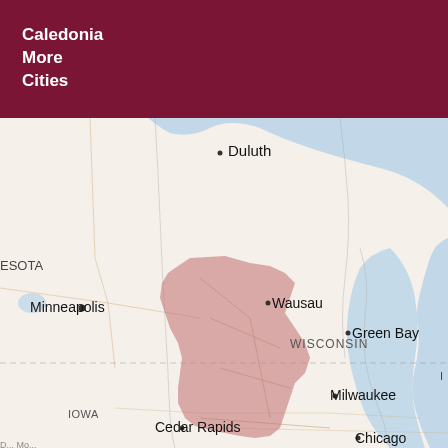Caledonia
More Cities
[Figure (map): Regional map showing parts of Minnesota, Wisconsin, Iowa, and surrounding Great Lakes areas. A highlighted rose/pink region covers central-western Wisconsin. Major cities labeled include Duluth, Minneapolis, Wausau, Green Bay, Milwaukee, Cedar Rapids, and Chicago. State labels include ESOTA (Minnesota), WISCONSIN, IOWA. Great Lakes (Lake Superior and Lake Michigan) shown in light blue.]